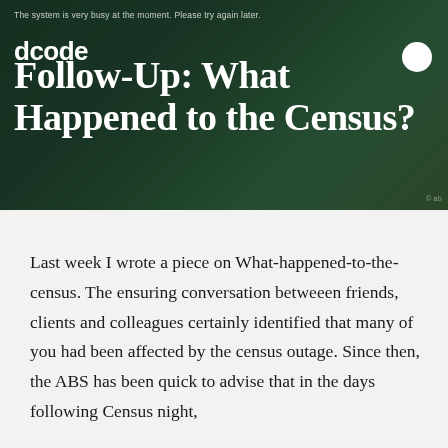The system is very busy at the moment. Please try again later.
[Figure (logo): dcode logo — white bold sans-serif text on dark green hero image background]
Follow-Up: What Happened to the Census?
Last week I wrote a piece on What-happened-to-the-census. The ensuring conversation betweeen friends, clients and colleagues certainly identified that many of you had been affected by the census outage. Since then, the ABS has been quick to advise that in the days following Census night,